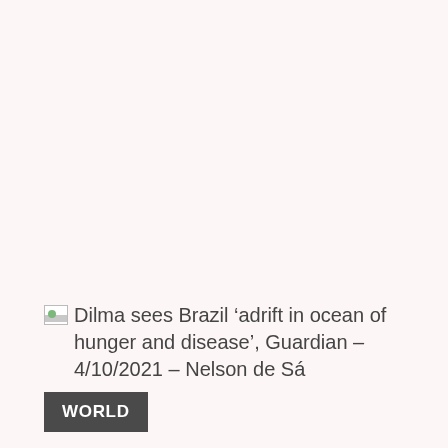Dilma sees Brazil ‘adrift in ocean of hunger and disease’, Guardian – 4/10/2021 – Nelson de Sá
WORLD